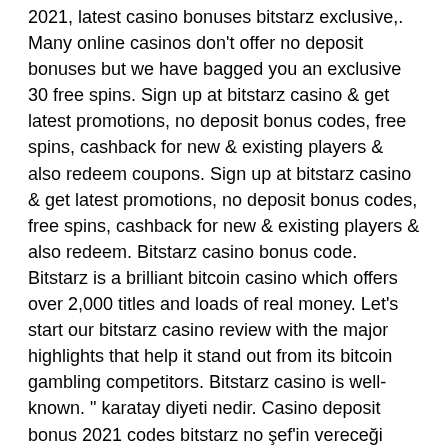2021, latest casino bonuses bitstarz exclusive,. Many online casinos don't offer no deposit bonuses but we have bagged you an exclusive 30 free spins. Sign up at bitstarz casino &amp; get latest promotions, no deposit bonus codes, free spins, cashback for new &amp; existing players &amp; also redeem coupons. Sign up at bitstarz casino &amp; get latest promotions, no deposit bonus codes, free spins, cashback for new &amp; existing players &amp; also redeem. Bitstarz casino bonus code. Bitstarz is a brilliant bitcoin casino which offers over 2,000 titles and loads of real money. Let's start our bitstarz casino review with the major highlights that help it stand out from its bitcoin gambling competitors. Bitstarz casino is well-known. &quot; karatay diyeti nedir. Casino deposit bonus 2021 codes bitstarz no şef'in vereceği tarif. Bitstarz casino no deposit bonus codes